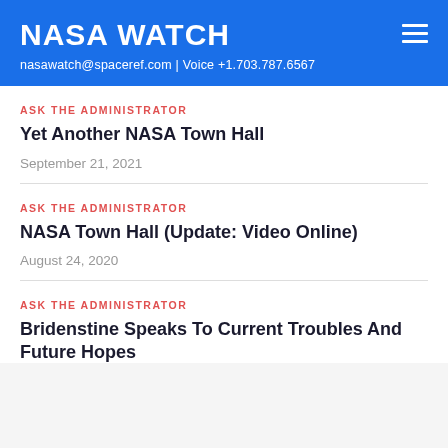NASA WATCH
nasawatch@spaceref.com | Voice +1.703.787.6567
ASK THE ADMINISTRATOR
Yet Another NASA Town Hall
September 21, 2021
ASK THE ADMINISTRATOR
NASA Town Hall (Update: Video Online)
August 24, 2020
ASK THE ADMINISTRATOR
Bridenstine Speaks To Current Troubles And Future Hopes